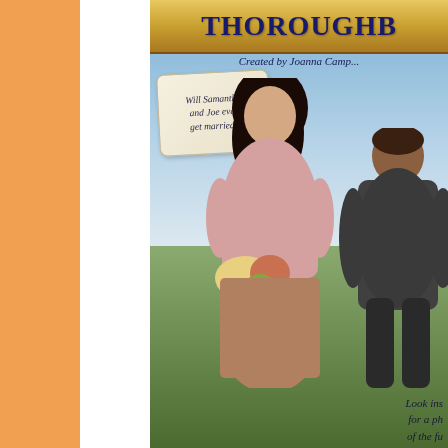[Figure (photo): Book cover for 'Thoroughbred' series created by Joanna Campbell. Shows a young dark-haired woman in a pink sweater holding flowers, standing in front of a man in dark clothing, with a blue sky background. A torn paper tag reads 'Will Samantha and Joe ever get married?' Bottom right text reads 'Look ins for a ph of the fu'. Left side has an orange background with a white strip.]